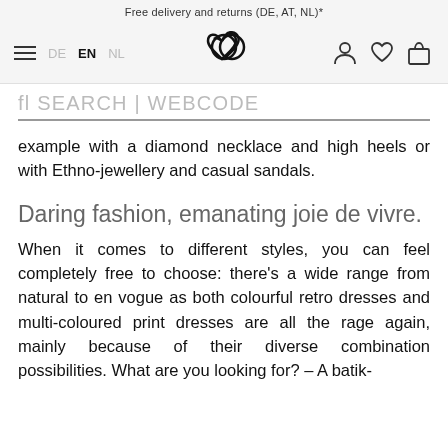Free delivery and returns (DE, AT, NL)*
DE  EN  NL  [logo]  [user] [wishlist] [cart]
fl SEARCH | WEBCODE
example with a diamond necklace and high heels or with Ethno-jewellery and casual sandals.
Daring fashion, emanating joie de vivre.
When it comes to different styles, you can feel completely free to choose: there's a wide range from natural to en vogue as both colourful retro dresses and multi-coloured print dresses are all the rage again, mainly because of their diverse combination possibilities. What are you looking for? – A batik-